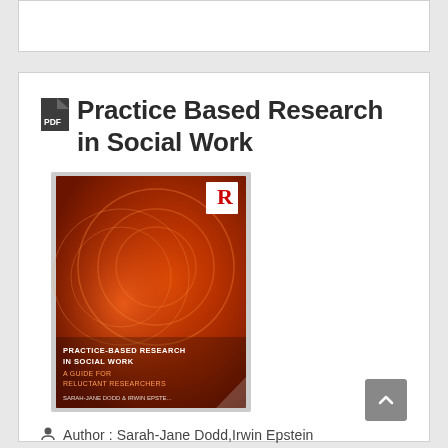Practice Based Research in Social Work
[Figure (photo): Book cover of 'Practice-Based Research in Social Work: A Guide for Reluctant Researchers' by Sarah-Jane Dodd & Irwin Epstein, published by Routledge. Red/orange abstract circular design on cover.]
Author : Sarah-Jane Dodd, Irwin Epstein
Publisher : Routledge